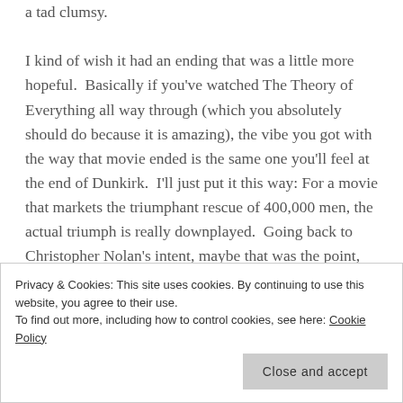a tad clumsy. I kind of wish it had an ending that was a little more hopeful. Basically if you've watched The Theory of Everything all way through (which you absolutely should do because it is amazing), the vibe you got with the way that movie ended is the same one you'll feel at the end of Dunkirk. I'll just put it this way: For a movie that markets the triumphant rescue of 400,000 men, the actual triumph is really downplayed. Going back to Christopher Nolan's intent, maybe that was the point, but still a small spark of hope after being rescued would have been
Privacy & Cookies: This site uses cookies. By continuing to use this website, you agree to their use. To find out more, including how to control cookies, see here: Cookie Policy
Close and accept